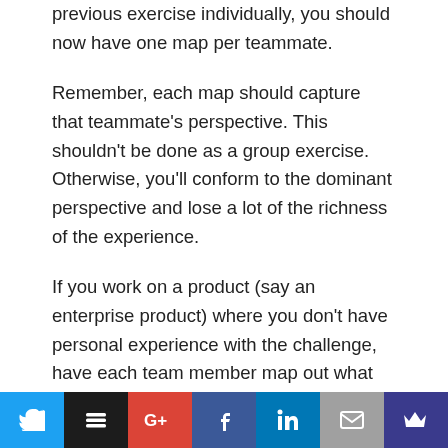previous exercise individually, you should now have one map per teammate.
Remember, each map should capture that teammate's perspective. This shouldn't be done as a group exercise. Otherwise, you'll conform to the dominant perspective and lose a lot of the richness of the experience.
If you work on a product (say an enterprise product) where you don't have personal experience with the challenge, have each team member map out what they think a customer's experience with the challenge looks like.
[Figure (other): Social sharing bar with buttons: Twitter (blue), Buffer (black), Google+ (red), Facebook (dark blue), LinkedIn (blue), Email (grey), Crown/Kingsumo (dark blue)]